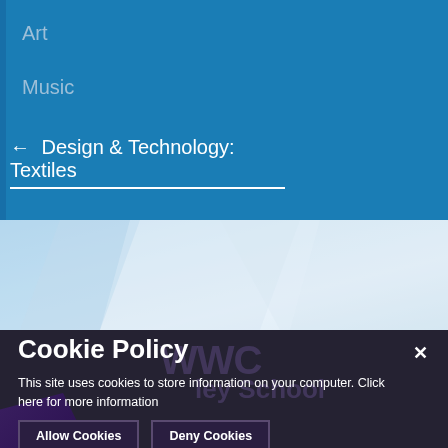Art
Music
← Design & Technology: Textiles
[Figure (illustration): Blue geometric background with light blue polygonal shapes forming a decorative header area]
Cookie Policy
This site uses cookies to store information on your computer. Click here for more information
Allow Cookies
Deny Cookies